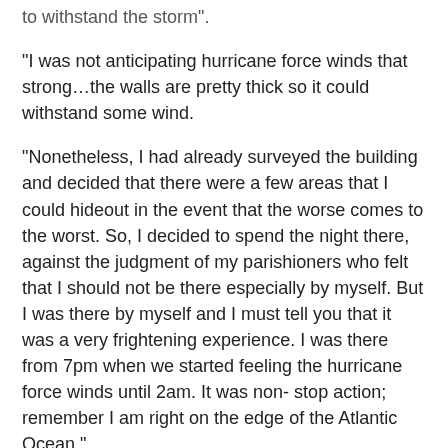to withstand the storm".
"I was not anticipating hurricane force winds that strong…the walls are pretty thick so it could withstand some wind.
"Nonetheless, I had already surveyed the building and decided that there were a few areas that I could hideout in the event that the worse comes to the worst. So, I decided to spend the night there, against the judgment of my parishioners who felt that I should not be there especially by myself. But I was there by myself and I must tell you that it was a very frightening experience. I was there from 7pm when we started feeling the hurricane force winds until 2am. It was non- stop action; remember I am right on the edge of the Atlantic Ocean."
Father John continued: "At about 8pm, I felt the house with these thick walls starting to shake and I would hear some of the galvanize sheets being ripped off the roof. I started to panic a bit and said 'oh boy this does not sound good'. Upon hearing the galvanize sheets being ripped off, I started to move from room to